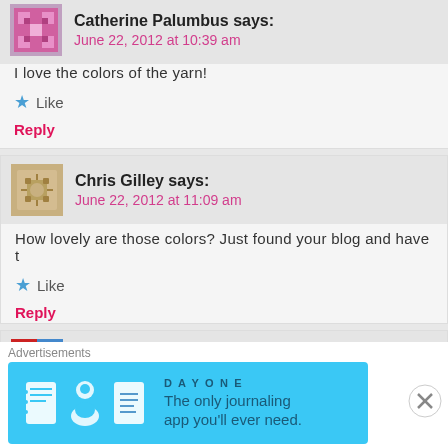Catherine Palumbus says:
June 22, 2012 at 10:39 am
I love the colors of the yarn!
Like
Reply
Chris Gilley says:
June 22, 2012 at 11:09 am
How lovely are those colors? Just found your blog and have t
Like
Reply
veldagia says:
[Figure (screenshot): Advertisement banner for DayOne journaling app with blue background, icons of a notebook, person, and document, text reads 'The only journaling app you'll ever need.']